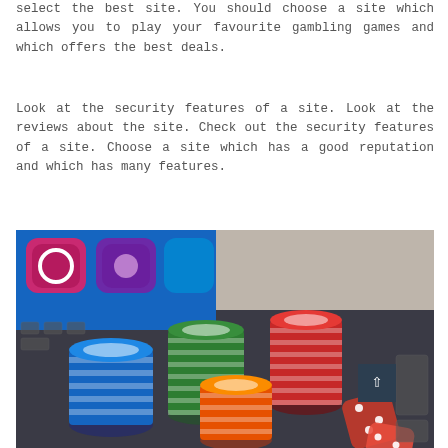select the best site. You should choose a site which allows you to play your favourite gambling games and which offers the best deals.
Look at the security features of a site. Look at the reviews about the site. Check out the security features of a site. Choose a site which has a good reputation and which has many features.
[Figure (photo): Stacks of casino chips in blue, green, red, and orange colors along with red dice on a laptop keyboard, with a colorful app screen visible in the background.]